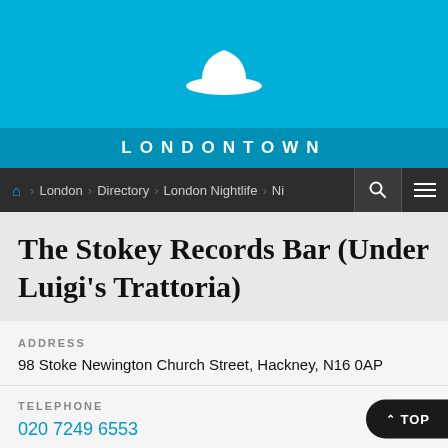[Figure (logo): Londontown bowler hat white logo icon on cyan/blue background]
LONDONTOWN
London > Directory > London Nightlife > Ni...
The Stokey Records Bar (Under Luigi's Trattoria)
ADDRESS
98 Stoke Newington Church Street, Hackney, N16 0AP
TELEPHONE
020 7249 6553
NEARBY